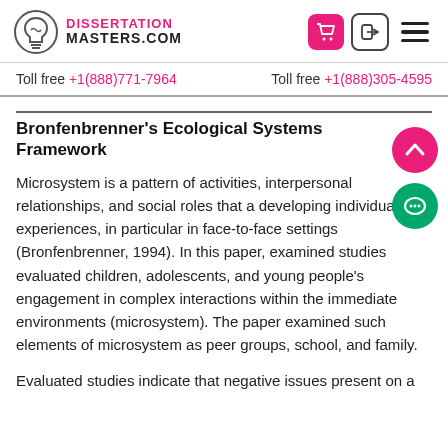DISSERTATION MASTERS.COM
Toll free +1(888)771-7964    Toll free +1(888)305-4595
Bronfenbrenner's Ecological Systems Framework
Microsystem is a pattern of activities, interpersonal relationships, and social roles that a developing individual experiences, in particular in face-to-face settings (Bronfenbrenner, 1994). In this paper, examined studies evaluated children, adolescents, and young people's engagement in complex interactions within the immediate environments (microsystem). The paper examined such elements of microsystem as peer groups, school, and family.
Evaluated studies indicate that negative issues present on a